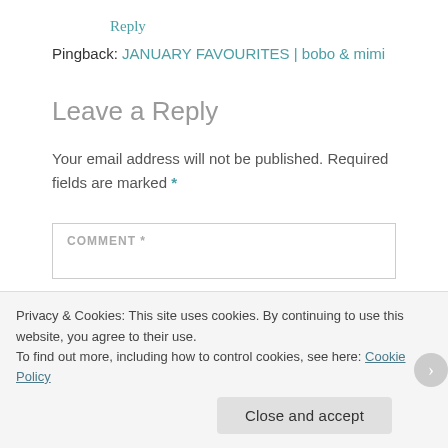Reply
Pingback: JANUARY FAVOURITES | bobo & mimi
Leave a Reply
Your email address will not be published. Required fields are marked *
COMMENT *
Privacy & Cookies: This site uses cookies. By continuing to use this website, you agree to their use.
To find out more, including how to control cookies, see here: Cookie Policy
Close and accept